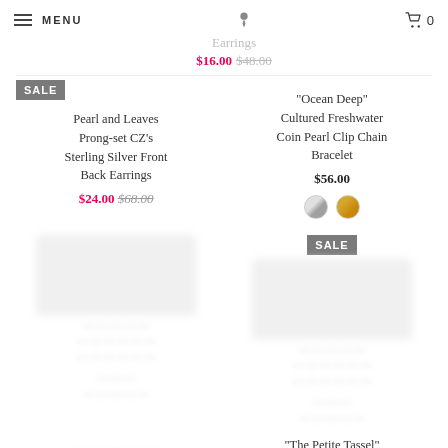MENU | [logo] | 0
Earrings
$16.00 $48.00
SALE Pearl and Leaves Prong-set CZ's Sterling Silver Front Back Earrings $24.00 $68.00
"Ocean Deep" Cultured Freshwater Coin Pearl Clip Chain Bracelet $56.00
[Figure (other): Two color swatches: silver and gold circles]
SALE
"The Petite Tassel" Pave Crystals &